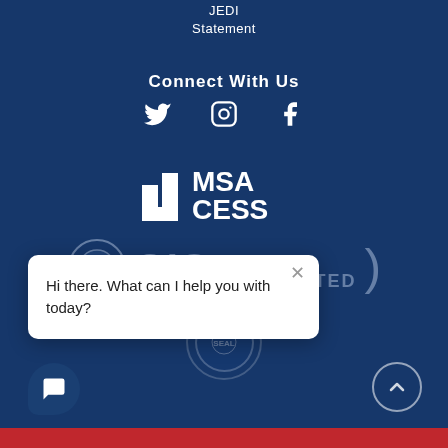JEDI Statement
Connect With Us
[Figure (logo): Social media icons: Twitter/X, Instagram, Facebook in white]
[Figure (logo): MSA CESS accreditation logo in white]
[Figure (logo): CIS ACCREDITED logo partially visible with circular seal badge]
Hi there. What can I help you with today?
[Figure (illustration): Chat widget button and scroll-to-top button]